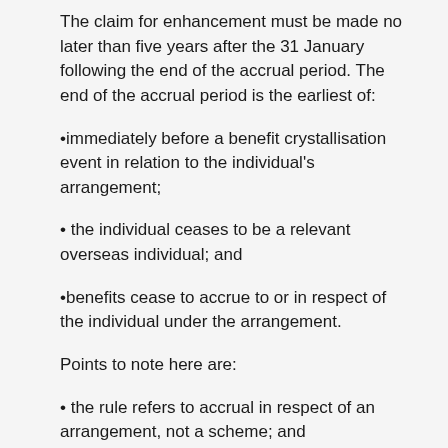The claim for enhancement must be made no later than five years after the 31 January following the end of the accrual period. The end of the accrual period is the earliest of:
•immediately before a benefit crystallisation event in relation to the individual's arrangement;
• the individual ceases to be a relevant overseas individual; and
•benefits cease to accrue to or in respect of the individual under the arrangement.
Points to note here are:
• the rule refers to accrual in respect of an arrangement, not a scheme; and